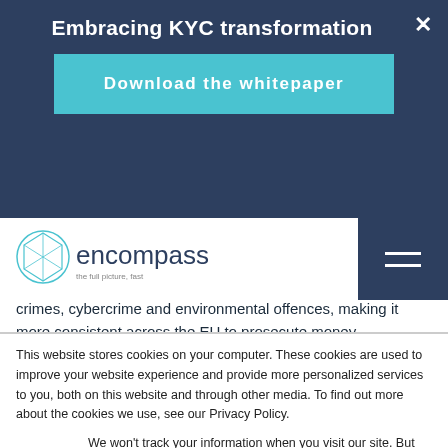Embracing KYC transformation
Download the whitepaper
[Figure (logo): Encompass logo with tagline 'the full picture, fast']
crimes, cybercrime and environmental offences, making it more consistent across the EU to prosecute money
This website stores cookies on your computer. These cookies are used to improve your website experience and provide more personalized services to you, both on this website and through other media. To find out more about the cookies we use, see our Privacy Policy.
We won't track your information when you visit our site. But in order to comply with your preferences, we'll have to use just one tiny cookie so that you're not asked to make this choice again.
Accept
Decline